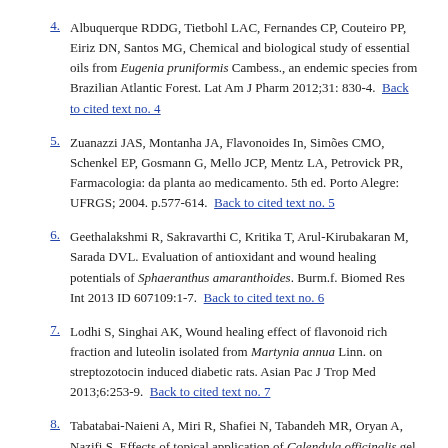4. Albuquerque RDDG, Tietbohl LAC, Fernandes CP, Couteiro PP, Eiriz DN, Santos MG, Chemical and biological study of essential oils from Eugenia pruniformis Cambess., an endemic species from Brazilian Atlantic Forest. Lat Am J Pharm 2012;31: 830-4. Back to cited text no. 4
5. Zuanazzi JAS, Montanha JA, Flavonoides In, Simões CMO, Schenkel EP, Gosmann G, Mello JCP, Mentz LA, Petrovick PR, Farmacologia: da planta ao medicamento. 5th ed. Porto Alegre: UFRGS; 2004. p.577-614. Back to cited text no. 5
6. Geethalakshmi R, Sakravarthi C, Kritika T, Arul-Kirubakaran M, Sarada DVL. Evaluation of antioxidant and wound healing potentials of Sphaeranthus amaranthoides. Burm.f. Biomed Res Int 2013 ID 607109:1-7. Back to cited text no. 6
7. Lodhi S, Singhai AK, Wound healing effect of flavonoid rich fraction and luteolin isolated from Martynia annua Linn. on streptozotocin induced diabetic rats. Asian Pac J Trop Med 2013;6:253-9. Back to cited text no. 7
8. Tabatabai-Naieni A, Miri R, Shafiei N, Tabandeh MR, Oryan A, Nazifi S, Effects of topical application of Calendula officinalis gel on collagen and hydroxyproline content of skin in rats. Comp Clin Pathology 2010;21:253-7. Back to cited text no.